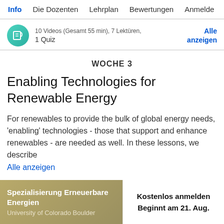Info · Die Dozenten · Lehrplan · Bewertungen · Anmelde
10 Videos (Gesamt 55 min), 7 Lektüren, 1 Quiz
Alle anzeigen
WOCHE 3
Enabling Technologies for Renewable Energy
For renewables to provide the bulk of global energy needs, 'enabling' technologies - those that support and enhance renewables - are needed as well. In these lessons, we describe
Alle anzeigen
Spezialisierung Erneuerbare Energien
University of Colorado Boulder
Kostenlos anmelden
Beginnt am 21. Aug.